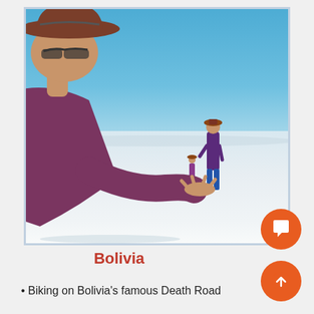[Figure (photo): A person wearing a wide-brimmed brown hat and purple long-sleeve shirt leans forward with outstretched hand on the white salt flats (Salar de Uyuni) in Bolivia under a bright blue sky. A small figurine (doll) appears to stand on the person's palm in the background, creating a forced perspective illusion. A second small figure stands in the middle distance.]
Bolivia
Biking on Bolivia's famous Death Road